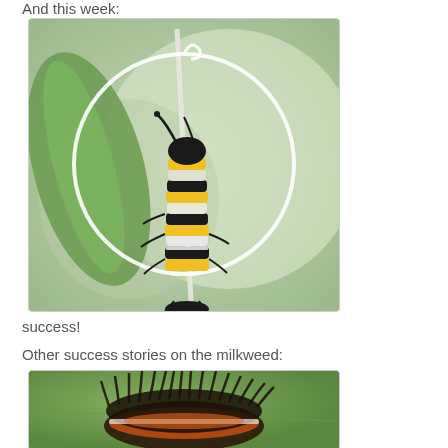And this week:
[Figure (photo): A monarch butterfly caterpillar with yellow, black, and white stripes clinging to a white stem/thread, with a circular white outline overlay on a blurred green background.]
success!
Other success stories on the milkweed:
[Figure (photo): A fuzzy black and orange caterpillar on a green milkweed leaf, partially visible at the bottom of the page.]